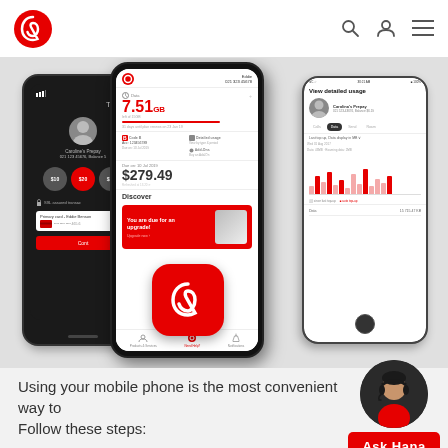[Figure (screenshot): Vodafone website header with red Vodafone logo on left, search icon, user icon, and hamburger menu icon on right]
[Figure (photo): Three smartphone mockups showing the Vodafone mobile app: left phone (dark) shows top-up screen with $10, $20, $25 options; center phone shows data usage (7.51GB left of 15GB) and bill of $279.49 plus Discover section with upgrade banner; right phone shows detailed usage view with bar chart]
Using your mobile phone is the most convenient way to
Follow these steps:
[Figure (illustration): Ask Hana customer support widget: headset-wearing agent avatar above a red button labeled 'Ask Hana']